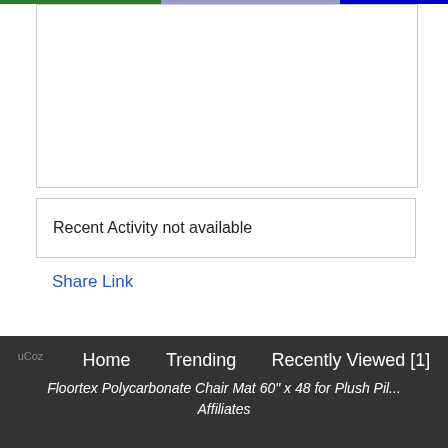[Figure (other): White content box (empty panel area)]
Recent Activity not available
Share Link
09/06/2022 07:04:04 [WSPG54B228416DE8834D4C08] [DM-N]
Home  Trending  Recently Viewed [1]
Floortex Polycarbonate Chair Mat 60" x 48 for Plush Pil...  Affiliates